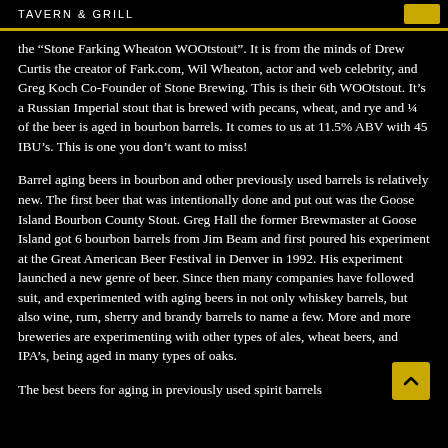Tavern & Grill
the "Stone Farking Wheaton WOOtstout". It is from the minds of Drew Curtis the creator of Fark.com, Wil Wheaton, actor and web celebrity, and Greg Koch Co-Founder of Stone Brewing. This is their 6th WOOtstout. It's a Russian Imperial stout that is brewed with pecans, wheat, and rye and ¼ of the beer is aged in bourbon barrels. It comes to us at 11.5% ABV with 45 IBU's. This is one you don't want to miss!
Barrel aging beers in bourbon and other previously used barrels is relatively new. The first beer that was intentionally done and put out was the Goose Island Bourbon County Stout. Greg Hall the former Brewmaster at Goose Island got 6 bourbon barrels from Jim Beam and first poured his experiment at the Great American Beer Festival in Denver in 1992. His experiment launched a new genre of beer. Since then many companies have followed suit, and experimented with aging beers in not only whiskey barrels, but also wine, rum, sherry and brandy barrels to name a few. More and more breweries are experimenting with other types of ales, wheat beers, and IPA's, being aged in many types of oaks.
The best beers for aging in previously used spirit barrels